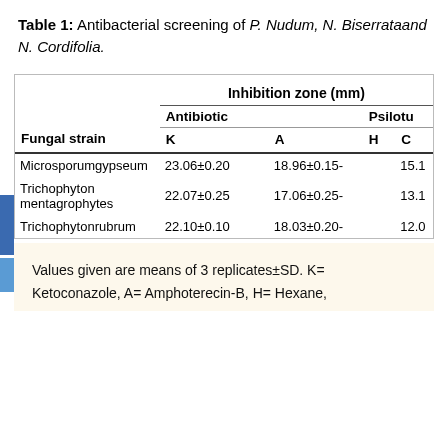Table 1: Antibacterial screening of P. Nudum, N. Biserrataand N. Cordifolia.
| Fungal strain | K | A | H | C |
| --- | --- | --- | --- | --- |
| Microsporumgypseum | 23.06±0.20 | 18.96±0.15- |  | 15.1 |
| Trichophyton mentagrophytes | 22.07±0.25 | 17.06±0.25- |  | 13.1 |
| Trichophytonrubrum | 22.10±0.10 | 18.03±0.20- |  | 12.0 |
Values given are means of 3 replicates±SD. K= Ketoconazole, A= Amphoterecin-B, H= Hexane,